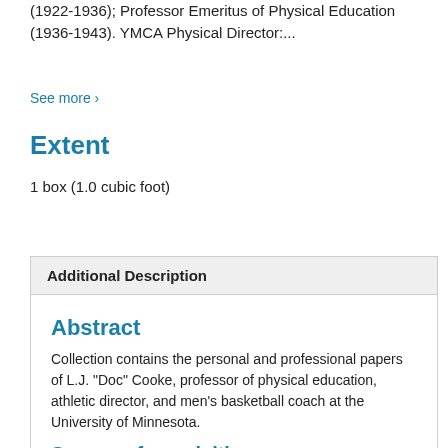(1922-1936); Professor Emeritus of Physical Education (1936-1943). YMCA Physical Director:...
See more ›
Extent
1 box (1.0 cubic foot)
Collapse All
Additional Description
Abstract
Collection contains the personal and professional papers of L.J. “Doc” Cooke, professor of physical education, athletic director, and men’s basketball coach at the University of Minnesota.
Source of acquisition
Collection was created by removing materials from